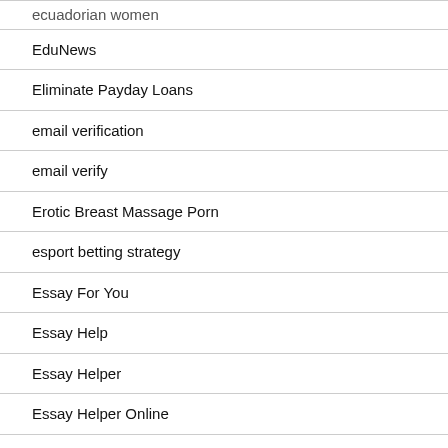ecuadorian women
EduNews
Eliminate Payday Loans
email verification
email verify
Erotic Breast Massage Porn
esport betting strategy
Essay For You
Essay Help
Essay Helper
Essay Helper Online
Essay Writer Service